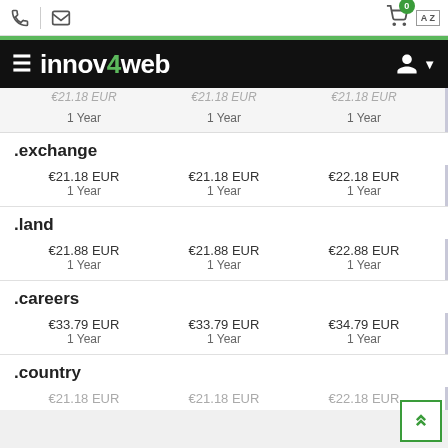innov4web - domain pricing page
1 Year   1 Year   1 Year
.exchange
€21.18 EUR  1 Year   €21.18 EUR  1 Year   €22.18 EUR  1 Year
.land
€21.88 EUR  1 Year   €21.88 EUR  1 Year   €22.88 EUR  1 Year
.careers
€33.79 EUR  1 Year   €33.79 EUR  1 Year   €34.79 EUR  1 Year
.country
€21.18 EUR ...  1 Year   ...  1 Year   ...  1 Year